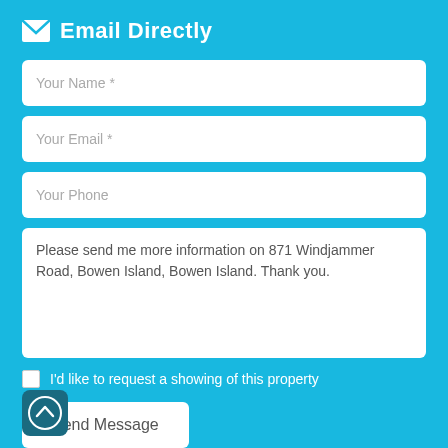Email Directly
Your Name *
Your Email *
Your Phone
Please send me more information on 871 Windjammer Road, Bowen Island, Bowen Island. Thank you.
I'd like to request a showing of this property
Send Message